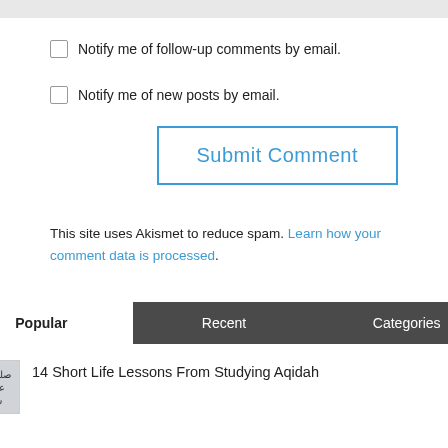Notify me of follow-up comments by email.
Notify me of new posts by email.
[Figure (other): Submit Comment button with blue border]
This site uses Akismet to reduce spam. Learn how your comment data is processed.
Popular | Recent | Categories
14 Short Life Lessons From Studying Aqidah